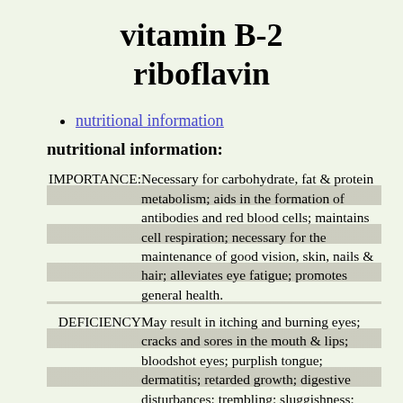vitamin B-2
riboflavin
nutritional information
nutritional information:
IMPORTANCE: Necessary for carbohydrate, fat & protein metabolism; aids in the formation of antibodies and red blood cells; maintains cell respiration; necessary for the maintenance of good vision, skin, nails & hair; alleviates eye fatigue; promotes general health.
DEFICIENCY SYMPTOMS: May result in itching and burning eyes; cracks and sores in the mouth & lips; bloodshot eyes; purplish tongue; dermatitis; retarded growth; digestive disturbances; trembling; sluggishness;